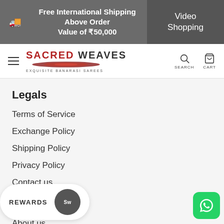Free International Shipping Above Order Value of ₹50,000 | Video Shopping
SACRED WEAVES EXQUISITE BANARASI SAREES | SEARCH | CART
Legals
Terms of Service
Exchange Policy
Shipping Policy
Privacy Policy
Contact us
Informations
About us
Press & Media
Blog
So...k
Fr...ns